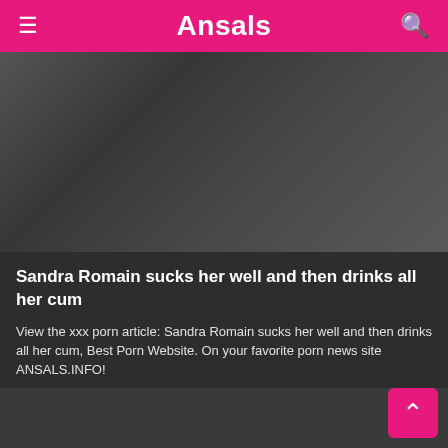Ansals
[Figure (photo): Dark blurred background image, adult content thumbnail]
Sandra Romain sucks her well and then drinks all her cum
View the xxx porn article: Sandra Romain sucks her well and then drinks all her cum, Best Porn Website. On your favorite porn news site ANSALS.INFO!
5 Views · Likes 0
[Figure (photo): Dark blurred background image, second article thumbnail]